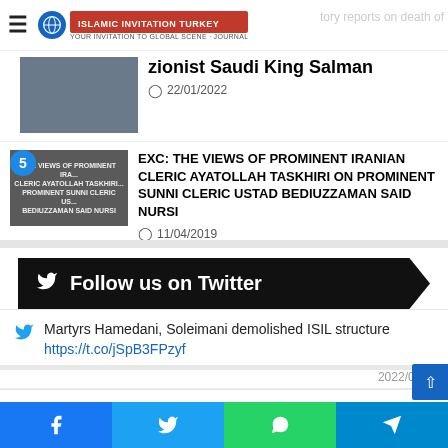Islamic Invitation Turkey
...tory reports on death of zionist Saudi King Salman
22/01/2022
EXC: THE VIEWS OF PROMINENT IRANIAN CLERIC AYATOLLAH TASKHIRI ON PROMINENT SUNNI CLERIC USTAD BEDIUZZAMAN SAID NURSI
11/04/2019
Follow us on Twitter
Martyrs Hamedani, Soleimani demolished ISIL structure https://t.co/jSpB3FPzyf
2022/08/13
Lebanese cleric praises Iran for continued Palestine support